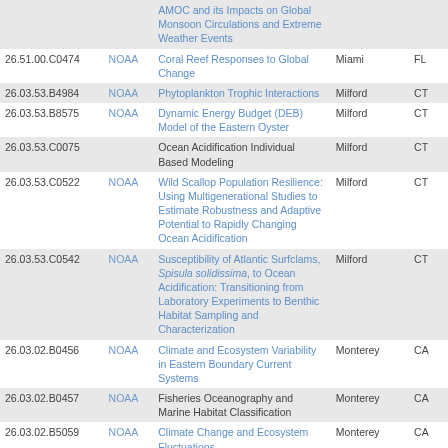| ID | Agency | Title | City | State |
| --- | --- | --- | --- | --- |
|  |  | AMOC and its Impacts on Global Monsoon Circulations and Extreme Weather Events |  |  |
| 26.51.00.C0474 | NOAA | Coral Reef Responses to Global Change | Miami | FL |
| 26.03.53.B4984 | NOAA | Phytoplankton Trophic Interactions | Milford | CT |
| 26.03.53.B8575 | NOAA | Dynamic Energy Budget (DEB) Model of the Eastern Oyster | Milford | CT |
| 26.03.53.C0075 | NOAA | Ocean Acidification Individual Based Modeling | Milford | CT |
| 26.03.53.C0522 | NOAA | Wild Scallop Population Resilience: Using Multigenerational Studies to Estimate Robustness and Adaptive Potential to Rapidly Changing Ocean Acidification | Milford | CT |
| 26.03.53.C0542 | NOAA | Susceptibility of Atlantic Surfclams, Spisula solidissima, to Ocean Acidification: Transitioning from Laboratory Experiments to Benthic Habitat Sampling and Characterization | Milford | CT |
| 26.03.02.B0456 | NOAA | Climate and Ecosystem Variability in Eastern Boundary Current Systems | Monterey | CA |
| 26.03.02.B0457 | NOAA | Fisheries Oceanography and Marine Habitat Classification | Monterey | CA |
| 26.03.02.B5059 | NOAA | Climate Change and Ecosystem Fluctuations | Monterey | CA |
| 26.03.55.C0150 | NOAA | New England Groundfish and Climate | Narragansett | RI |
| 26.03.66.C0552 | NOAA | Ocean Acidification Effects on Alaska Groundfishes | Newport | OR |
| 26.03.78.B7558 | NOAA | Understanding the consequences of climate change for risk planning and decision-making in transboundary fisheries… | Newport | OR |